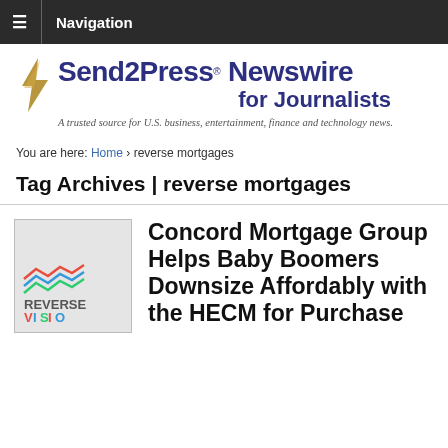Navigation
[Figure (logo): Send2Press Newswire for Journalists logo with gold lightning bolt and tagline: A trusted source for U.S. business, entertainment, finance and technology news.]
You are here: Home › reverse mortgages
Tag Archives | reverse mortgages
[Figure (logo): ReverseVision logo thumbnail image]
Concord Mortgage Group Helps Baby Boomers Downsize Affordably with the HECM for Purchase